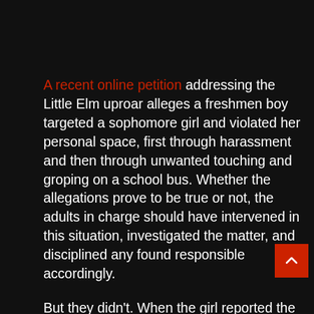A recent online petition addressing the Little Elm uproar alleges a freshmen boy targeted a sophomore girl and violated her personal space, first through harassment and then through unwanted touching and groping on a school bus. Whether the allegations prove to be true or not, the adults in charge should have intervened in this situation, investigated the matter, and disciplined any found responsible accordingly.

But they didn't. When the girl reported the abuse to an administrator and school resource officer, she simply wasn't believed, a local outlet reports. Instead, they took the side of the boy who was accused and assigned the girl three days of in-school suspension